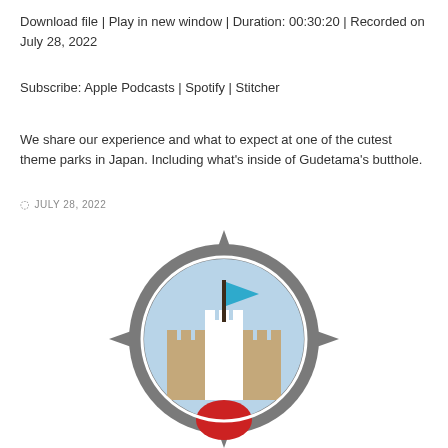Download file | Play in new window | Duration: 00:30:20 | Recorded on July 28, 2022
Subscribe: Apple Podcasts | Spotify | Stitcher
We share our experience and what to expect at one of the cutest theme parks in Japan. Including what's inside of Gudetama's butthole.
JULY 28, 2022
[Figure (logo): A circular compass-style logo with a castle and blue flag inside on a light blue background, surrounded by a grey ornate border]